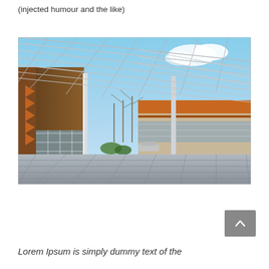(injected humour and the like)
[Figure (photo): Architectural rendering of a modern building complex with a large metal lattice/grid canopy structure overhead, an open courtyard with tiled pavement, bare trees in the background, and multi-story buildings with wood and glass facades on either side. Blue sky with clouds visible through the canopy.]
Lorem Ipsum is simply dummy text of the